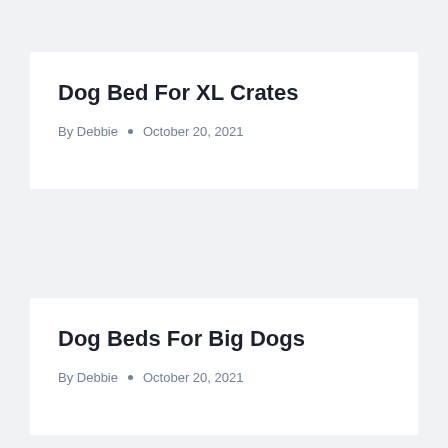Dog Bed For XL Crates
By Debbie • October 20, 2021
Dog Beds For Big Dogs
By Debbie • October 20, 2021